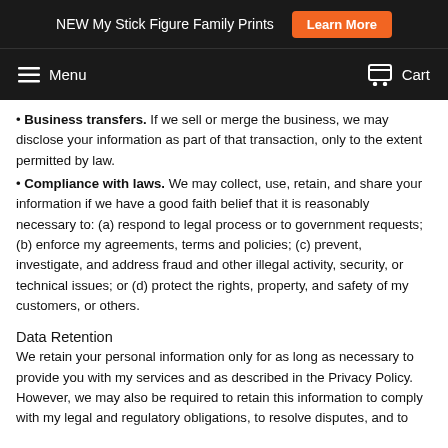NEW My Stick Figure Family Prints  Learn More
Menu  Cart
• Business transfers. If we sell or merge the business, we may disclose your information as part of that transaction, only to the extent permitted by law.
• Compliance with laws. We may collect, use, retain, and share your information if we have a good faith belief that it is reasonably necessary to: (a) respond to legal process or to government requests; (b) enforce my agreements, terms and policies; (c) prevent, investigate, and address fraud and other illegal activity, security, or technical issues; or (d) protect the rights, property, and safety of my customers, or others.
Data Retention
We retain your personal information only for as long as necessary to provide you with my services and as described in the Privacy Policy. However, we may also be required to retain this information to comply with my legal and regulatory obligations, to resolve disputes, and to